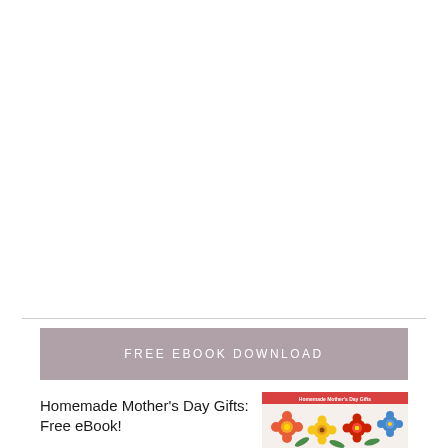[Figure (illustration): Large white blank area occupying the top portion of the page, representing an advertisement or content placeholder area with a light right border.]
FREE EBOOK DOWNLOAD
Homemade Mother's Day Gifts: Free eBook!
[Figure (photo): Thumbnail image of a book cover showing colorful crochet flowers in red, yellow, orange and blue on a light background with the title 'Homemade Mother's Day Gifts' in red text at the top.]